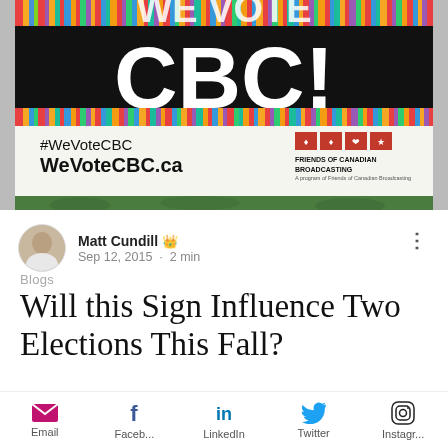[Figure (photo): A lawn sign reading 'We Vote CBC!' with colorful vertical stripes at top, and '#WeVoteCBC / WeVoteCBC.ca' at bottom with Friends of Canadian Broadcasting logo, placed in grass]
Matt Cundill 👑
Sep 12, 2015 · 2 min
Blogs
Will this Sign Influence Two Elections This Fall?
The federal election campaign is well
Email  Faceb...  LinkedIn  Twitter  Instagr...